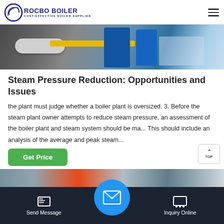ROCBO BOILER — COST-EFFECTIVE BOILER SUPPLIER
[Figure (photo): Industrial boiler equipment with yellow pipe, blue barrels and machinery in a plant setting]
Steam Pressure Reduction: Opportunities and Issues
the plant must judge whether a boiler plant is oversized. 3. Before the steam plant owner attempts to reduce steam pressure, an assessment of the boiler plant and steam system should be ma... This should include an analysis of the average and peak steam...
[Figure (photo): Partial view of industrial piping with orange/red pipe and blue/grey background]
Send Message | Inquiry Online